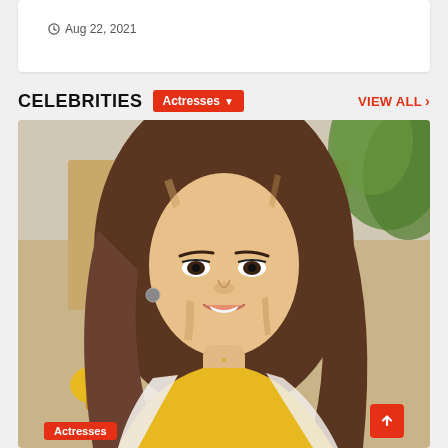Aug 22, 2021
CELEBRITIES
Actresses
VIEW ALL >
[Figure (photo): A smiling South Asian woman with long brown highlighted hair, wearing a yellow sleeveless top with a white dupatta/scarf, photographed outdoors with flowers and foliage in the background.]
Actresses